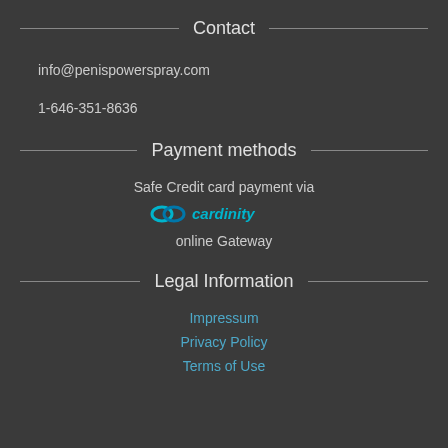Contact
info@penispowerspray.com
1-646-351-8636
Payment methods
Safe Credit card payment via cardinity online Gateway
Legal Information
Impressum
Privacy Policy
Terms of Use